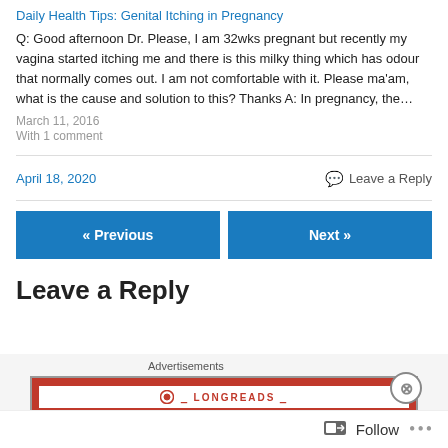Daily Health Tips: Genital Itching in Pregnancy
Q: Good afternoon Dr. Please, I am 32wks pregnant but recently my vagina started itching me and there is this milky thing which has odour that normally comes out. I am not comfortable with it. Please ma'am, what is the cause and solution to this? Thanks A: In pregnancy, the…
March 11, 2016
With 1 comment
April 18, 2020
Leave a Reply
« Previous
Next »
Leave a Reply
[Figure (other): Longreads advertisement banner with close button]
Follow •••